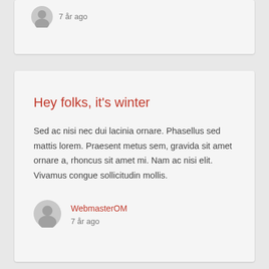7 år ago
Hey folks, it's winter
Sed ac nisi nec dui lacinia ornare. Phasellus sed mattis lorem. Praesent metus sem, gravida sit amet ornare a, rhoncus sit amet mi. Nam ac nisi elit. Vivamus congue sollicitudin mollis.
WebmasterOM
7 år ago